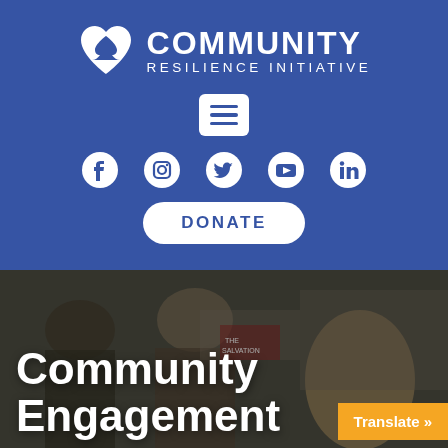[Figure (logo): Community Resilience Initiative logo with heart/spade icon in white on blue background]
[Figure (infographic): Hamburger menu button (white rounded rectangle with three blue lines) on blue background]
[Figure (infographic): Social media icons row: Facebook, Instagram, Twitter, YouTube, LinkedIn on blue background]
DONATE
[Figure (photo): Photo of people at a community engagement event, with young woman in foreground working on something at a table]
Community Engagement
Translate »